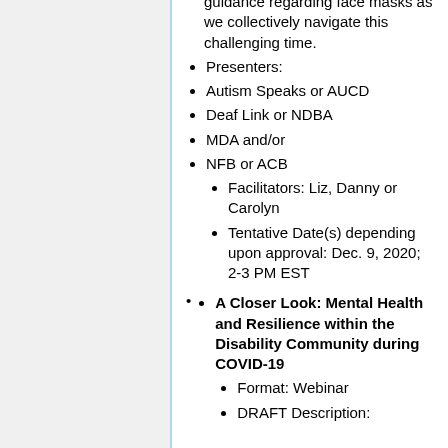guidance regarding face masks as we collectively navigate this challenging time.
Presenters:
Autism Speaks or AUCD
Deaf Link or NDBA
MDA and/or
NFB or ACB
Facilitators: Liz, Danny or Carolyn
Tentative Date(s) depending upon approval: Dec. 9, 2020; 2-3 PM EST
A Closer Look: Mental Health and Resilience within the Disability Community during COVID-19
Format: Webinar
DRAFT Description: